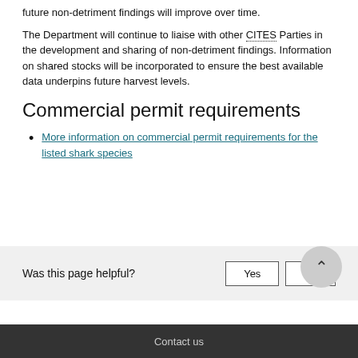future non-detriment findings will improve over time.
The Department will continue to liaise with other CITES Parties in the development and sharing of non-detriment findings. Information on shared stocks will be incorporated to ensure the best available data underpins future harvest levels.
Commercial permit requirements
More information on commercial permit requirements for the listed shark species
Was this page helpful?
Contact us